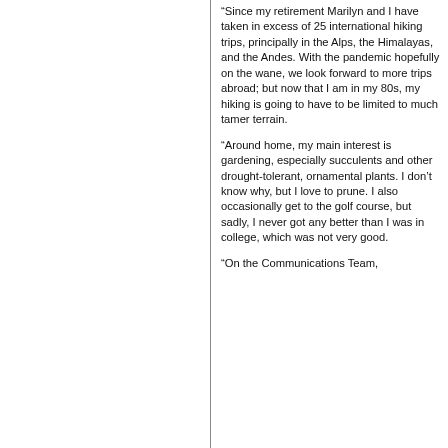“Since my retirement Marilyn and I have taken in excess of 25 international hiking trips, principally in the Alps, the Himalayas, and the Andes. With the pandemic hopefully on the wane, we look forward to more trips abroad; but now that I am in my 80s, my hiking is going to have to be limited to much tamer terrain.
“Around home, my main interest is gardening, especially succulents and other drought-tolerant, ornamental plants. I don’t know why, but I love to prune. I also occasionally get to the golf course, but sadly, I never got any better than I was in college, which was not very good.
“On the Communications Team,